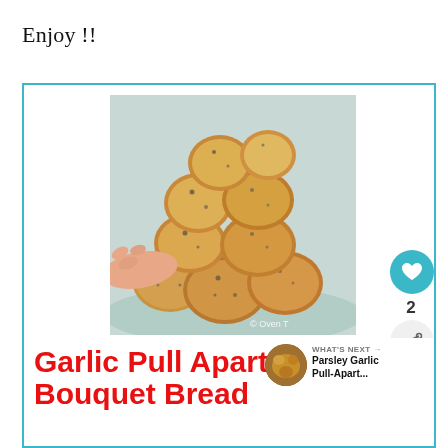Enjoy !!
[Figure (photo): Close-up photo of garlic pull apart bouquet bread being pulled apart by a hand, showing golden-brown baked dough balls with herbs, watermark '© Oven T' visible]
Garlic Pull Apart Bouquet Bread
WHAT'S NEXT → Parsley Garlic Pull-Apart...